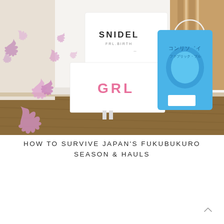[Figure (photo): A photo showing shopping bags and boxes from Japanese brands: a white SNIDEL bag, a white GRL box with pink lettering, and a blue Japanese detergent/product bag, arranged on a wooden floor near a wall. Pink maple leaf decorations overlay the lower-left corner of the image.]
HOW TO SURVIVE JAPAN'S FUKUBUKURO SEASON & HAULS